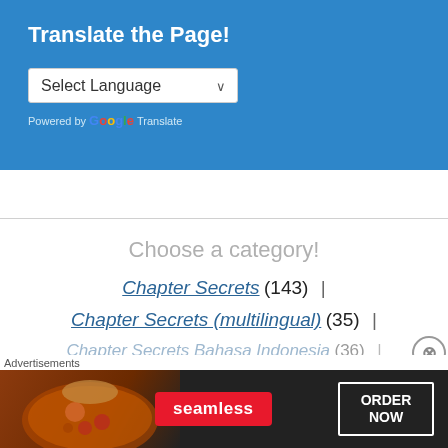Translate the Page!
Select Language
Powered by Google Translate
Choose a category!
Chapter Secrets (143) |
Chapter Secrets (multilingual) (35) |
Chapter Secrets Bahasa Indonesia (36) |
Advertisements
[Figure (screenshot): Seamless food delivery advertisement banner with pizza image, Seamless logo and ORDER NOW button]